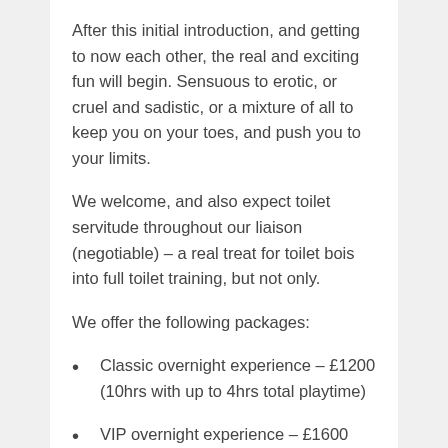After this initial introduction, and getting to now each other, the real and exciting fun will begin. Sensuous to erotic, or cruel and sadistic, or a mixture of all to keep you on your toes, and push you to your limits.
We welcome, and also expect toilet servitude throughout our liaison (negotiable) – a real treat for toilet bois into full toilet training, but not only.
We offer the following packages:
Classic overnight experience – £1200 (10hrs with up to 4hrs total playtime)
VIP overnight experience – £1600 (12hrs with up to 6hrs total playtime)
The experience is not limited only to overnight